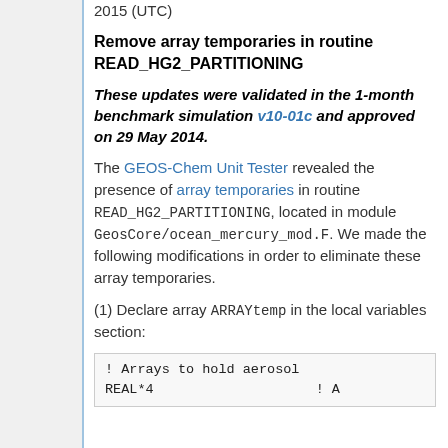2015 (UTC)
Remove array temporaries in routine READ_HG2_PARTITIONING
These updates were validated in the 1-month benchmark simulation v10-01c and approved on 29 May 2014.
The GEOS-Chem Unit Tester revealed the presence of array temporaries in routine READ_HG2_PARTITIONING, located in module GeosCore/ocean_mercury_mod.F. We made the following modifications in order to eliminate these array temporaries.
(1) Declare array ARRAYtemp in the local variables section:
! Arrays to hold aerosol
REAL*4                    ! A